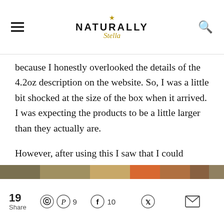NATURALLY Stella
because I honestly overlooked the details of the 4.2oz description on the website. So, I was a little bit shocked at the size of the box when it arrived. I was expecting the products to be a little larger than they actually are.
However, after using this I saw that I could probably squeeze out about 4 to 5 total applications with this. So, I'm satisfied with that.
[Figure (photo): Partial view of a product image strip at the bottom of the article body]
19 Share | Pinterest 9 | Facebook 10 | Twitter | Email